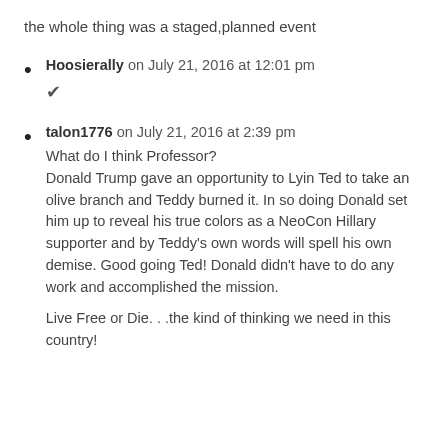the whole thing was a staged,planned event
Hoosierally on July 21, 2016 at 12:01 pm
✔
talon1776 on July 21, 2016 at 2:39 pm
What do I think Professor?
Donald Trump gave an opportunity to Lyin Ted to take an olive branch and Teddy burned it. In so doing Donald set him up to reveal his true colors as a NeoCon Hillary supporter and by Teddy's own words will spell his own demise. Good going Ted! Donald didn't have to do any work and accomplished the mission.
Live Free or Die. . .the kind of thinking we need in this country!